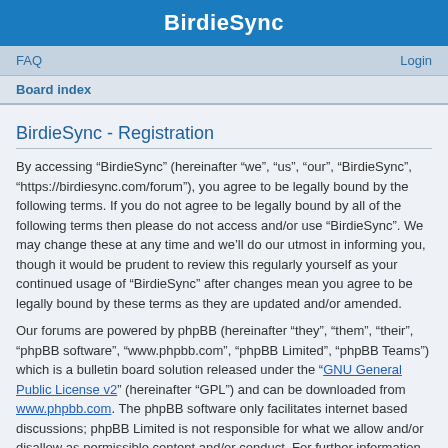BirdieSync
FAQ  Login
Board index
BirdieSync - Registration
By accessing “BirdieSync” (hereinafter “we”, “us”, “our”, “BirdieSync”, “https://birdiesync.com/forum”), you agree to be legally bound by the following terms. If you do not agree to be legally bound by all of the following terms then please do not access and/or use “BirdieSync”. We may change these at any time and we’ll do our utmost in informing you, though it would be prudent to review this regularly yourself as your continued usage of “BirdieSync” after changes mean you agree to be legally bound by these terms as they are updated and/or amended.
Our forums are powered by phpBB (hereinafter “they”, “them”, “their”, “phpBB software”, “www.phpbb.com”, “phpBB Limited”, “phpBB Teams”) which is a bulletin board solution released under the “GNU General Public License v2” (hereinafter “GPL”) and can be downloaded from www.phpbb.com. The phpBB software only facilitates internet based discussions; phpBB Limited is not responsible for what we allow and/or disallow as permissible content and/or conduct. For further information about phpBB, please see: https://www.phpbb.com/.